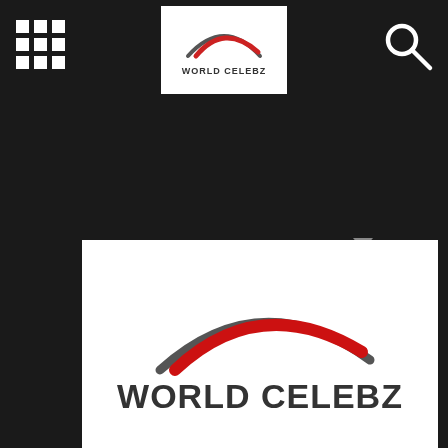[Figure (logo): World Celebz logo in navbar — white box with red arc and text WORLD CELEBZ]
[Figure (logo): World Celebz large logo at bottom of page — red and dark arc swoosh above bold text WORLD CELEBZ]